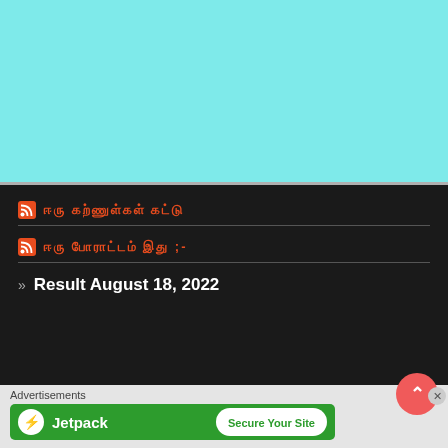[Figure (other): Light cyan/turquoise colored banner area at top of page]
ஒரு மாணவர்கள் கட்டு
ஒரு போராட்டம் இது ;-
» Result August 18, 2022
Advertisements
[Figure (other): Jetpack advertisement banner with green background showing 'Secure Your Site' button]